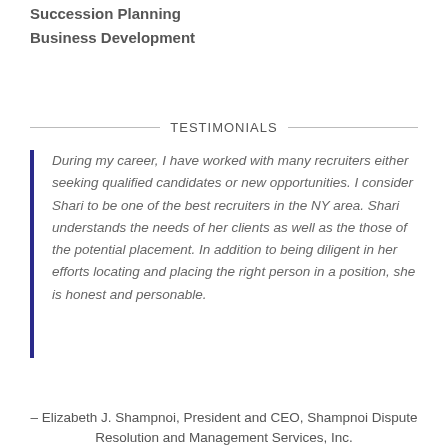Succession Planning
Business Development
TESTIMONIALS
During my career, I have worked with many recruiters either seeking qualified candidates or new opportunities. I consider Shari to be one of the best recruiters in the NY area. Shari understands the needs of her clients as well as the those of the potential placement. In addition to being diligent in her efforts locating and placing the right person in a position, she is honest and personable.
– Elizabeth J. Shampnoi, President and CEO, Shampnoi Dispute Resolution and Management Services, Inc.